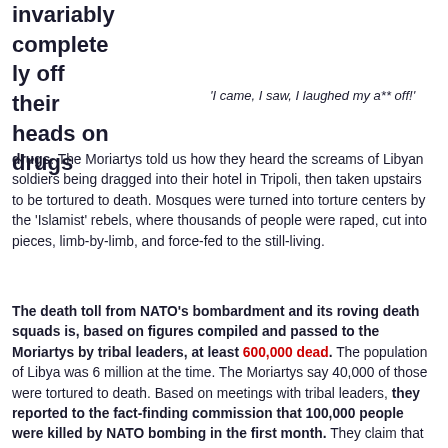invariably completely off their heads on drugs. The Moriartys told us how they heard the screams of Libyan soldiers being dragged into their hotel in Tripoli, then taken upstairs to be tortured to death. Mosques were turned into torture centers by the 'Islamist' rebels, where thousands of people were raped, cut into pieces, limb-by-limb, and force-fed to the still-living.
'I came, I saw, I laughed my a** off!'
The death toll from NATO's bombardment and its roving death squads is, based on figures compiled and passed to the Moriartys by tribal leaders, at least 600,000 dead. The population of Libya was 6 million at the time. The Moriartys say 40,000 of those were tortured to death. Based on meetings with tribal leaders, they reported to the fact-finding commission that 100,000 people were killed by NATO bombing in the first month. They claim that NATO dropped more bombs on Libya from March-October 2011 than were dropped in the entire